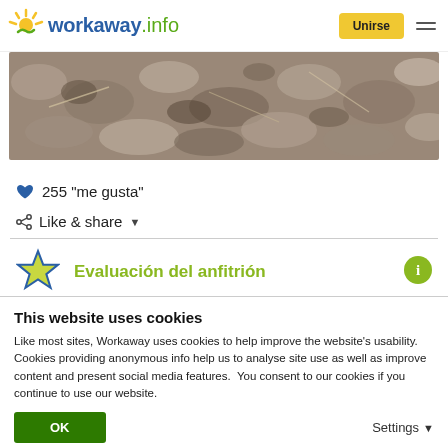workaway.info — Unirse
[Figure (photo): Close-up photo of soil/dirt texture, brown and grey tones]
255 “me gusta”
Like & share
Evaluación del anfitrión
This website uses cookies
Like most sites, Workaway uses cookies to help improve the website’s usability. Cookies providing anonymous info help us to analyse site use as well as improve content and present social media features.  You consent to our cookies if you continue to use our website.
OK
Settings